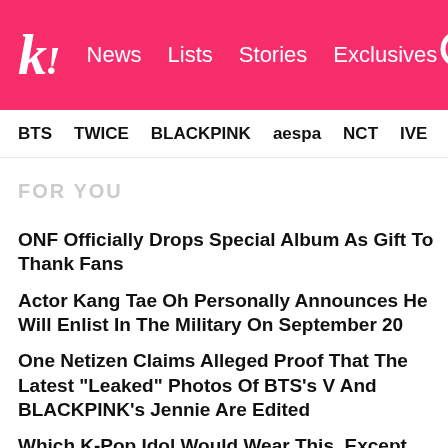k! News Lists Stories Exclusives
BTS TWICE BLACKPINK aespa NCT IVE SHINee
FOR YOU
ONF Officially Drops Special Album As Gift To Thank Fans
Actor Kang Tae Oh Personally Announces He Will Enlist In The Military On September 20
One Netizen Claims Alleged Proof That The Latest "Leaked" Photos Of BTS's V And BLACKPINK's Jennie Are Edited
Which K-Pop Idol Would Wear This, Except It's Literally SHINee's Key
Jun Debuts A New Hairstyle At SEVENTEEN's Toronto Concert And Fans Are Living For It